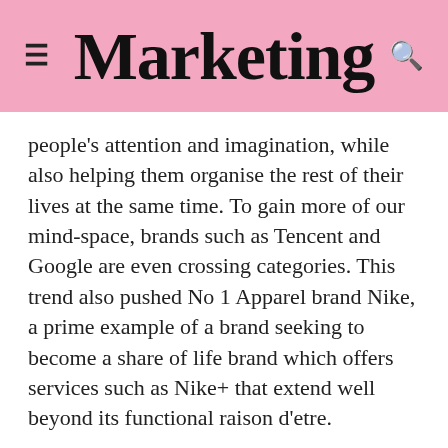Marketing
people's attention and imagination, while also helping them organise the rest of their lives at the same time. To gain more of our mind-space, brands such as Tencent and Google are even crossing categories. This trend also pushed No 1 Apparel brand Nike, a prime example of a brand seeking to become a share of life brand which offers services such as Nike+ that extend well beyond its functional raison d'etre.
Purpose beyond profit: Brands in business for reasons beyond the bottom line have a better chance of success in today's world. For example,